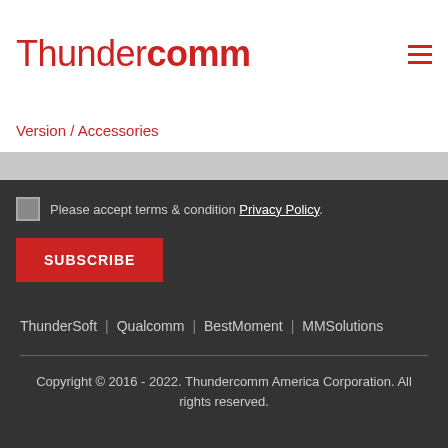Thundercomm
Version / Accessories
Please accept terms & condition Privacy Policy.
SUBSCRIBE
ThunderSoft  |  Qualcomm  |  BestMoment  |  MMSolutions
Copyright © 2016 - 2022. Thundercomm America Corporation. All rights reserved.